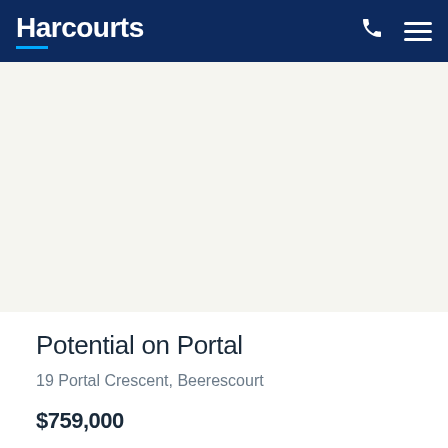Harcourts
[Figure (photo): Property listing photo placeholder — white/light beige area representing an image of the property at 19 Portal Crescent, Beerescourt]
Potential on Portal
19 Portal Crescent, Beerescourt
$759,000